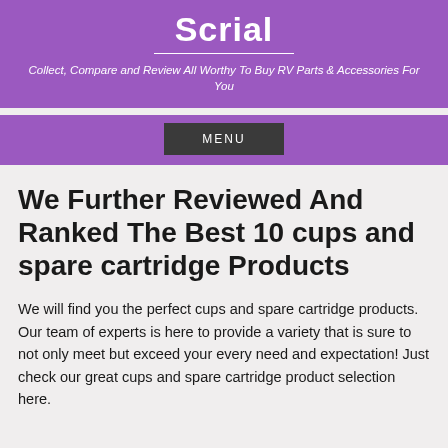Scrial
Collect, Compare and Review All Worthy To Buy RV Parts & Accessories For You
MENU
We Further Reviewed And Ranked The Best 10 cups and spare cartridge Products
We will find you the perfect cups and spare cartridge products. Our team of experts is here to provide a variety that is sure to not only meet but exceed your every need and expectation! Just check our great cups and spare cartridge product selection here.